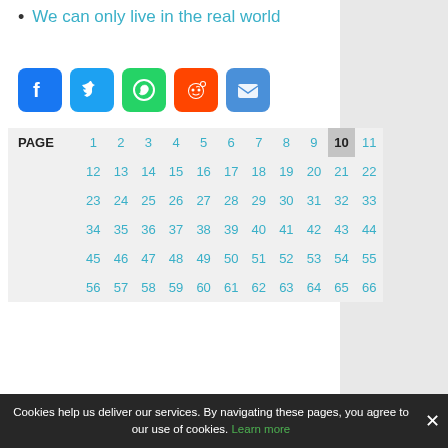We can only live in the real world
[Figure (infographic): Social share buttons: Facebook, Twitter, WhatsApp, Reddit, Email]
| PAGE | 1 | 2 | 3 | 4 | 5 | 6 | 7 | 8 | 9 | 10 | 11 |
| --- | --- | --- | --- | --- | --- | --- | --- | --- | --- | --- | --- |
| 12 | 13 | 14 | 15 | 16 | 17 | 18 | 19 | 20 | 21 | 22 |
| 23 | 24 | 25 | 26 | 27 | 28 | 29 | 30 | 31 | 32 | 33 |
| 34 | 35 | 36 | 37 | 38 | 39 | 40 | 41 | 42 | 43 | 44 |
| 45 | 46 | 47 | 48 | 49 | 50 | 51 | 52 | 53 | 54 | 55 |
| 56 | 57 | 58 | 59 | 60 | 61 | 62 | 63 | 64 | 65 | 66 |
Cookies help us deliver our services. By navigating these pages, you agree to our use of cookies. Learn more